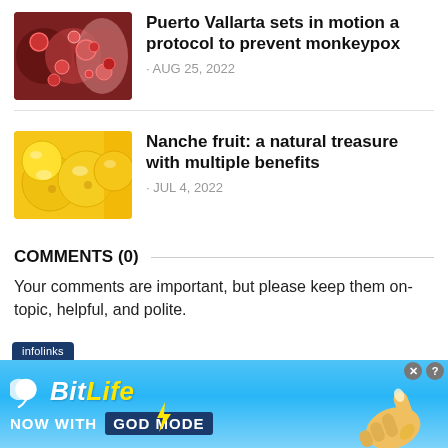[Figure (photo): Thumbnail image showing monkeypox skin lesions]
Puerto Vallarta sets in motion a protocol to prevent monkeypox
AUG 25, 2022
[Figure (photo): Thumbnail image showing yellow nanche fruits]
Nanche fruit: a natural treasure with multiple benefits
JUL 4, 2022
COMMENTS (0)
Your comments are important, but please keep them on-topic, helpful, and polite.
[Figure (screenshot): BitLife advertisement banner — NOW WITH GOD MODE]